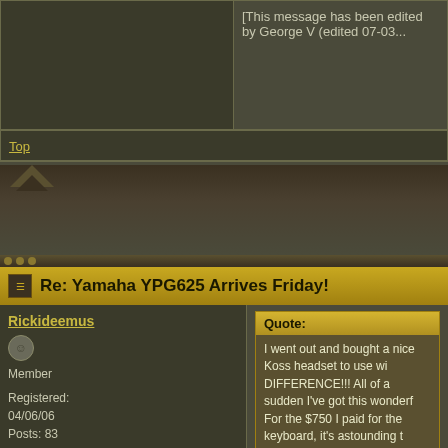[This message has been edited by George V (edited 07-03...
Top
Re: Yamaha YPG625 Arrives Friday!
Rickideemus
Member
Registered: 04/06/06
Posts: 83
Quote:
I went out and bought a nice Koss headset to use wi... DIFFERENCE!!! All of a sudden I've got this wonderf... For the $750 I paid for the keyboard, it's astounding t... out on the friggin external sound system. Maybe min... so.
I'd have gladly thrown in another $25 for them to put...
The speakers in my YPG-625 are absolutely superb. In fa... gig in a large hall. And I can hear very little difference thro... defective unit, or electricity inadequate to power the speak... you play, or ... something.

I don't think they could have improved on the speakers wit...

Rick